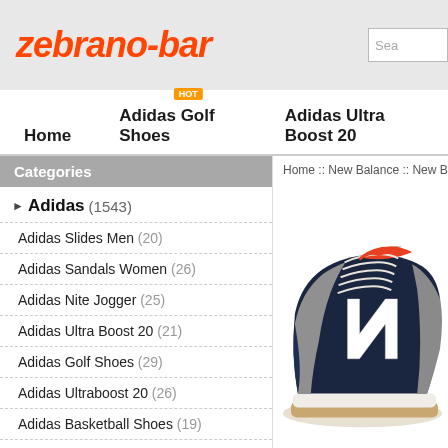zebrano-bar
Search
Home  Adidas Golf Shoes  Adidas Ultra Boost 20
Categories
Home :: New Balance :: New Balance 720
Adidas (1543)
Adidas Slides Men (20)
Adidas Sandals Women (26)
Adidas Nite Jogger (25)
Adidas Ultra Boost 20 (21)
Adidas Golf Shoes (29)
Adidas Ultraboost 20 (26)
Adidas Basketball Shoes (19)
White Adidas Shoes (21)
[Figure (photo): New Balance 720 sneaker in navy blue with grey suede panels, orange collar lining, white N logo, and gum sole]